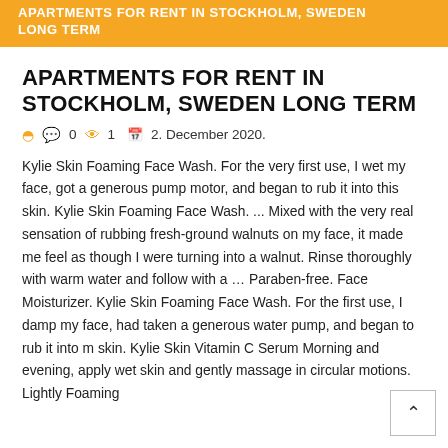APARTMENTS FOR RENT IN STOCKHOLM, SWEDEN LONG TERM
APARTMENTS FOR RENT IN STOCKHOLM, SWEDEN LONG TERM
0   1   2. December 2020.
Kylie Skin Foaming Face Wash. For the very first use, I wet my face, got a generous pump motor, and began to rub it into this skin. Kylie Skin Foaming Face Wash. ... Mixed with the very real sensation of rubbing fresh-ground walnuts on my face, it made me feel as though I were turning into a walnut. Rinse thoroughly with warm water and follow with a … Paraben-free. Face Moisturizer. Kylie Skin Foaming Face Wash. For the first use, I damp my face, had taken a generous water pump, and began to rub it into my skin. Kylie Skin Vitamin C Serum Morning and evening, apply wet skin and gently massage in circular motions. Lightly Foaming